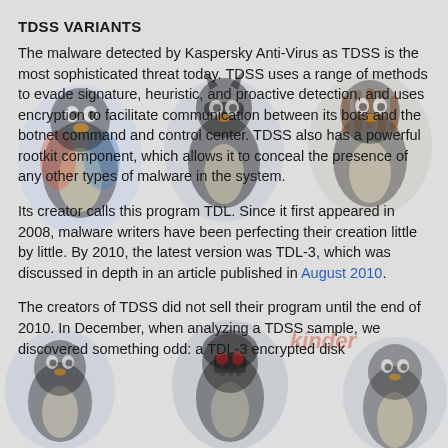[Figure (illustration): Background image featuring Tux penguin characters in various costumes (Batman, pirate, Darth Vader, Kinder branding, etc.) on a light gray background]
TDSS VARIANTS
The malware detected by Kaspersky Anti-Virus as TDSS is the most sophisticated threat today. TDSS uses a range of methods to evade signature, heuristic, and proactive detection, and uses encryption to facilitate communication between its bots and the botnet command and control center. TDSS also has a powerful rootkit component, which allows it to conceal the presence of any other types of malware in the system.
Its creator calls this program TDL. Since it first appeared in 2008, malware writers have been perfecting their creation little by little. By 2010, the latest version was TDL-3, which was discussed in depth in an article published in August 2010.
The creators of TDSS did not sell their program until the end of 2010. In December, when analyzing a TDSS sample, we discovered something odd: a TDL-3 encrypted disk containing data from the media disc...